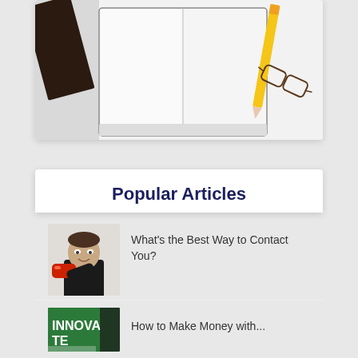[Figure (photo): Top portion of a photo showing an open notebook, pencil, and glasses on a white desk surface]
Popular Articles
[Figure (photo): Man in black shirt holding a red telephone receiver pointed at the camera, making a funny face]
What's the Best Way to Contact You?
[Figure (photo): Partially visible image showing text 'INNOVA' and 'TE' on a green background, appears to be a book or magazine cover]
How to Make Money with...